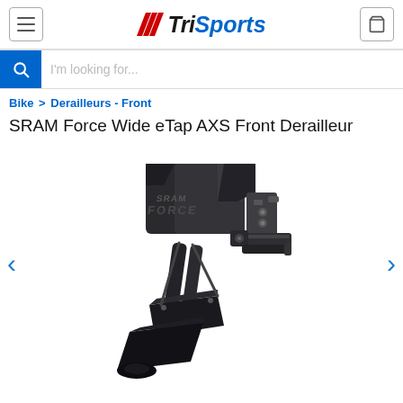TriSports
I'm looking for...
Bike > Derailleurs - Front
SRAM Force Wide eTap AXS Front Derailleur
[Figure (photo): SRAM Force Wide eTap AXS Front Derailleur product photo — a black electronic front derailleur with SRAM Force branding, shown on white background]